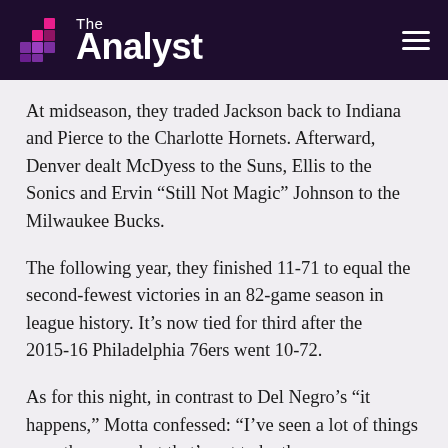The Analyst
At midseason, they traded Jackson back to Indiana and Pierce to the Charlotte Hornets. Afterward, Denver dealt McDyess to the Suns, Ellis to the Sonics and Ervin “Still Not Magic” Johnson to the Milwaukee Bucks.
The following year, they finished 11-71 to equal the second-fewest victories in an 82-game season in league history. It’s now tied for third after the 2015-16 Philadelphia 76ers went 10-72.
As for this night, in contrast to Del Negro’s “it happens,” Motta confessed: “I’ve seen a lot of things over the years, but that’s got to be the